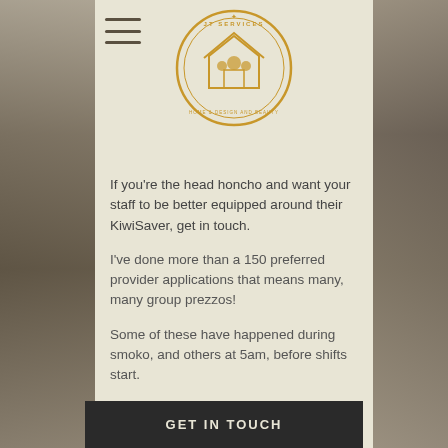[Figure (logo): JT Services circular logo with house icon and text 'JT SERVICES' around the border, gold/brown color]
If you're the head honcho and want your staff to be better equipped around their KiwiSaver, get in touch.
I've done more than a 150 preferred provider applications that means many, many group prezzos!
Some of these have happened during smoko, and others at 5am, before shifts start.
This is a free, no obligation, 30 minute session.
GET IN TOUCH